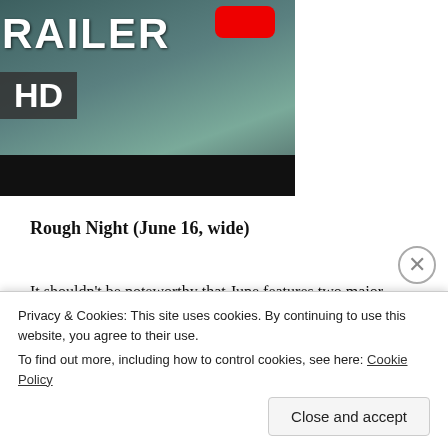[Figure (screenshot): Video thumbnail showing a person in teal/green robes with TRAILER text in white and a red play button, HD badge overlay, and dark bottom bar]
Rough Night (June 16, wide)
It shouldn't be noteworthy that June features two major releases that are directed by women and feature female leads, yet it kind of is. The second of those is Rough Night, the debut feature from director Lucia Aniello. Aniello has
Privacy & Cookies: This site uses cookies. By continuing to use this website, you agree to their use.
To find out more, including how to control cookies, see here: Cookie Policy
Close and accept